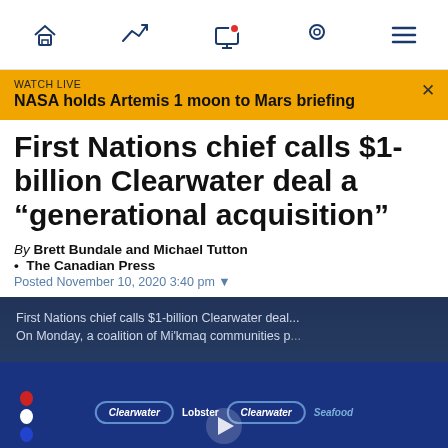Navigation bar with home, trending, live TV, location, and menu icons
WATCH LIVE
NASA holds Artemis 1 moon to Mars briefing
First Nations chief calls $1-billion Clearwater deal a “generational acquisition”
By Brett Bundale and Michael Tutton
•  The Canadian Press
Posted November 10, 2020 3:40 pm
[Figure (screenshot): Video thumbnail showing Clearwater seafood store with Mi'kmaq communities text overlay and play button]